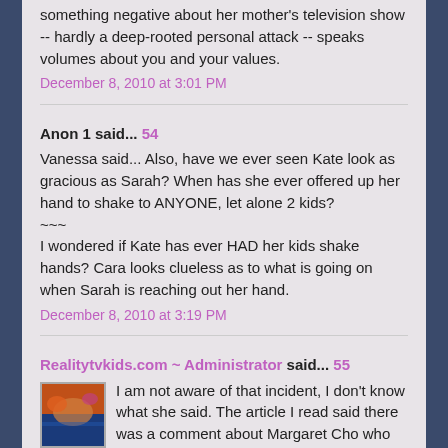something negative about her mother's television show -- hardly a deep-rooted personal attack -- speaks volumes about you and your values.
December 8, 2010 at 3:01 PM
Anon 1 said... 54
Vanessa said... Also, have we ever seen Kate look as gracious as Sarah? When has she ever offered up her hand to shake to ANYONE, let alone 2 kids?
~~~
I wondered if Kate has ever HAD her kids shake hands? Cara looks clueless as to what is going on when Sarah is reaching out her hand.
December 8, 2010 at 3:19 PM
Realitytvkids.com ~ Administrator said... 55
I am not aware of that incident, I don't know what she said. The article I read said there was a comment about Margaret Cho who was PICKING on them, who was on the attack, which then put two very young and inexperienced people on the